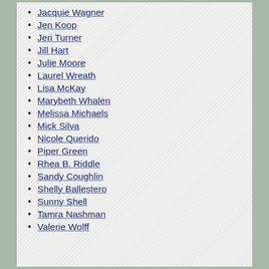Jacquie Wagner
Jen Koop
Jeri Turner
Jill Hart
Julie Moore
Laurel Wreath
Lisa McKay
Marybeth Whalen
Melissa Michaels
Mick Silva
Nicole Querido
Piper Green
Rhea B. Riddle
Sandy Coughlin
Shelly Ballestero
Sunny Shell
Tamra Nashman
Valerie Wolff